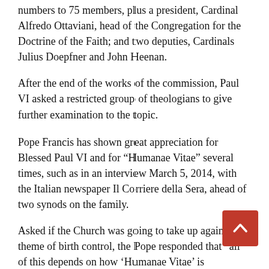numbers to 75 members, plus a president, Cardinal Alfredo Ottaviani, head of the Congregation for the Doctrine of the Faith; and two deputies, Cardinals Julius Doepfner and John Heenan.
After the end of the works of the commission, Paul VI asked a restricted group of theologians to give further examination to the topic.
Pope Francis has shown great appreciation for Blessed Paul VI and for “Humanae Vitae” several times, such as in an interview March 5, 2014, with the Italian newspaper Il Corriere della Sera, ahead of two synods on the family.
Asked if the Church was going to take up again the theme of birth control, the Pope responded that “all of this depends on how ‘Humanae Vitae’ is interpreted. Paul VI himself, at the end, recommended to confessors much mercy, and attention to concrete situations.”